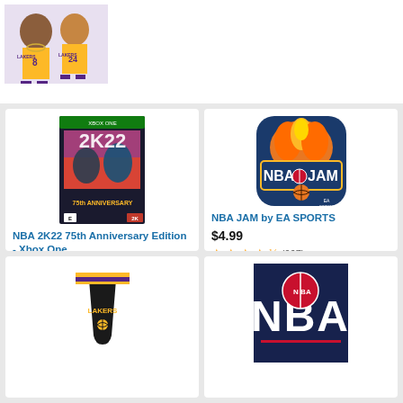[Figure (illustration): NBA 2K cartoon-style player illustration in Lakers jerseys, partially visible at top of page]
[Figure (photo): NBA 2K22 75th Anniversary Edition Xbox One game box cover]
NBA 2K22 75th Anniversary Edition - Xbox One
$29.92 $99.99 prime
(456)
[Figure (logo): NBA JAM by EA SPORTS app icon with flaming basketball]
NBA JAM by EA SPORTS
$4.99
(967)
[Figure (photo): Lakers basketball shorts - black with purple and gold stripes]
[Figure (logo): NBA official logo banner - navy background with white NBA text]